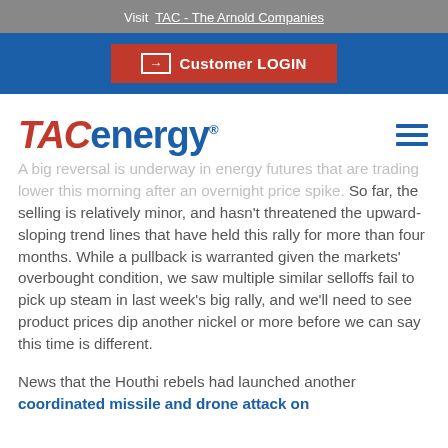Visit  TAC - The Arnold Companies
[Figure (other): Customer LOGIN button on blue background bar]
[Figure (logo): TACenergy logo — TAC in red italic, energy in blue]
A big reversal is underway in energy futures that are trading lower this morning after an overnight price spike. So far, the selling is relatively minor, and hasn't threatened the upward-sloping trend lines that have held this rally for more than four months. While a pullback is warranted given the markets' overbought condition, we saw multiple similar selloffs fail to pick up steam in last week's big rally, and we'll need to see product prices dip another nickel or more before we can say this time is different.
News that the Houthi rebels had launched another coordinated missile and drone attack on